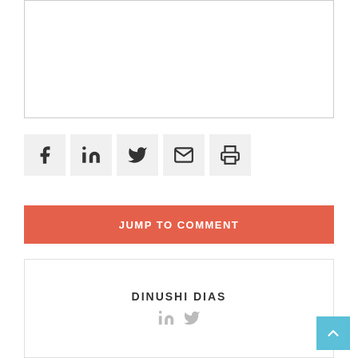[Figure (other): Framed image placeholder box with border]
[Figure (infographic): Row of 5 social sharing icon buttons: Facebook, LinkedIn, Twitter, Email, Print]
JUMP TO COMMENT
DINUSHI DIAS
[Figure (infographic): Author social icons: LinkedIn and Twitter in grey]